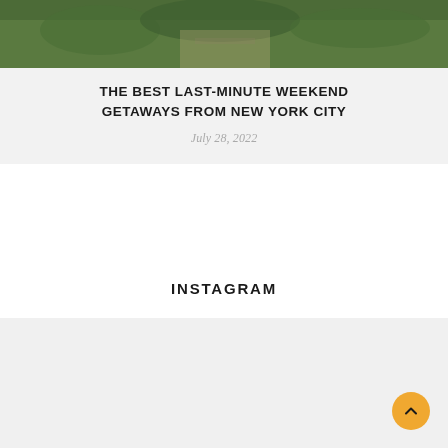[Figure (photo): Aerial or landscape photo showing greenery and a road or waterway, partially cropped at top]
THE BEST LAST-MINUTE WEEKEND GETAWAYS FROM NEW YORK CITY
July 28, 2022
INSTAGRAM
[Figure (photo): Light gray/empty footer section]